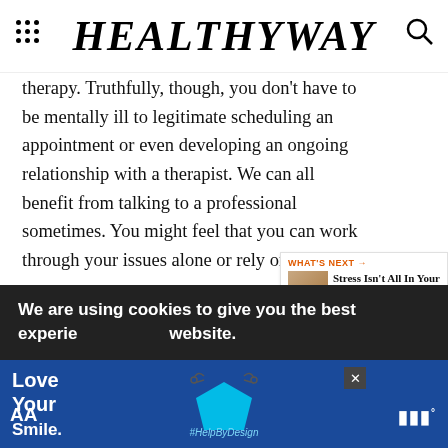HEALTHYWAY
therapy. Truthfully, though, you don't have to be mentally ill to legitimate scheduling an appointment or even developing an ongoing relationship with a therapist. We can all benefit from talking to a professional sometimes. You might feel that you can work through your issues alone or rely on your family and friends to help you. Having a support network of people who care about you is important, as is working through problems on your own. Both of those are good mental health tools, but they can't replace having a trained professional share informed insight and introduce you to new techniques you can use to care for yourself and interact healthfully with others. Likewise, a therapist can't replace introspection or a good support network.
We are using cookies to give you the best experience on our website.
[Figure (infographic): Advertisement banner with blue background showing 'Love Your Smile' text and a stylized dental mask graphic with #HelpByDesign hashtag]